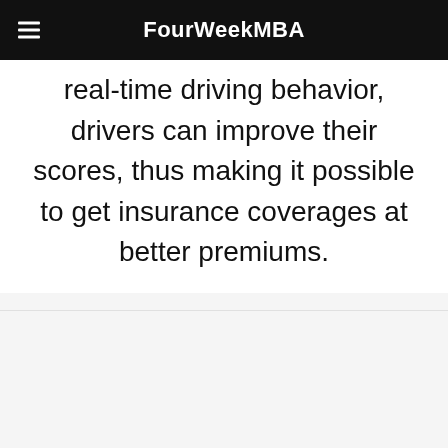FourWeekMBA
real-time driving behavior, drivers can improve their scores, thus making it possible to get insurance coverages at better premiums.